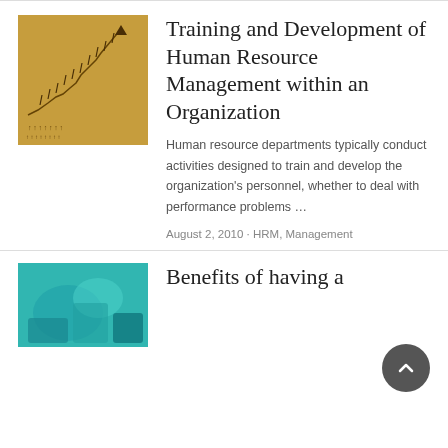[Figure (illustration): Sepia-toned chart image showing upward trending arrow marks on aged paper background]
Training and Development of Human Resource Management within an Organization
Human resource departments typically conduct activities designed to train and develop the organization’s personnel, whether to deal with performance problems …
August 2, 2010 · HRM, Management
[Figure (photo): Teal/turquoise colored financial or business themed image, partially visible at bottom]
Benefits of having a